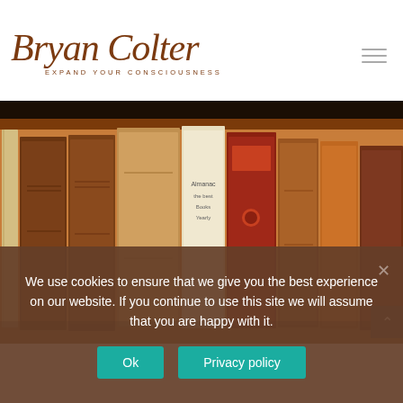[Figure (logo): Bryan Colter logo with script text and tagline 'EXPAND YOUR CONSCIOUSNESS']
[Figure (photo): A row of old antique leather-bound books on a wooden bookshelf, photographed from the side showing their spines]
We use cookies to ensure that we give you the best experience on our website. If you continue to use this site we will assume that you are happy with it.
Ok
Privacy policy